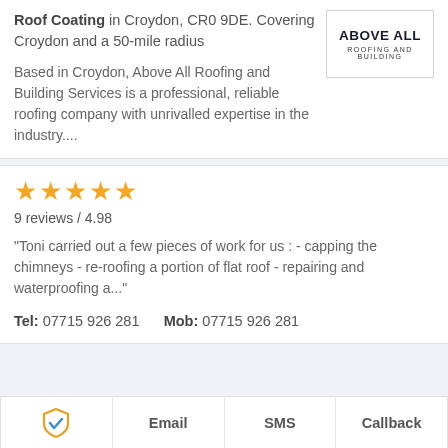Roof Coating in Croydon, CR0 9DE. Covering Croydon and a 50-mile radius
[Figure (logo): Above All Roofing and Building logo — text-based logo with 'ABOVE ALL' in bold and 'ROOFING AND BUILDING' below]
Based in Croydon, Above All Roofing and Building Services is a professional, reliable roofing company with unrivalled expertise in the industry....
9 reviews / 4.98
"Toni carried out a few pieces of work for us : - capping the chimneys - re-roofing a portion of flat roof - repairing and waterproofing a..."
Tel: 07715 926 281   Mob: 07715 926 281
Email   SMS   Callback